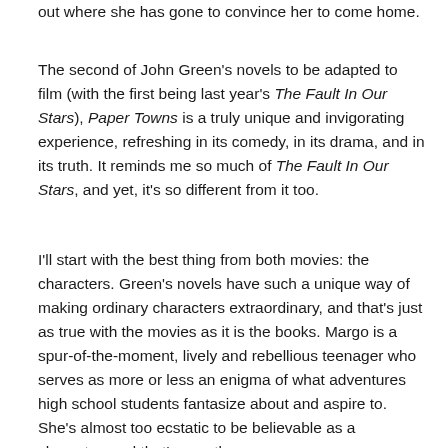out where she has gone to convince her to come home.
The second of John Green's novels to be adapted to film (with the first being last year's The Fault In Our Stars), Paper Towns is a truly unique and invigorating experience, refreshing in its comedy, in its drama, and in its truth. It reminds me so much of The Fault In Our Stars, and yet, it's so different from it too.
I'll start with the best thing from both movies: the characters. Green's novels have such a unique way of making ordinary characters extraordinary, and that's just as true with the movies as it is the books. Margo is a spur-of-the-moment, lively and rebellious teenager who serves as more or less an enigma of what adventures high school students fantasize about and aspire to. She's almost too ecstatic to be believable as a character, and that's exactly the reason Green's characters are so brilliant.